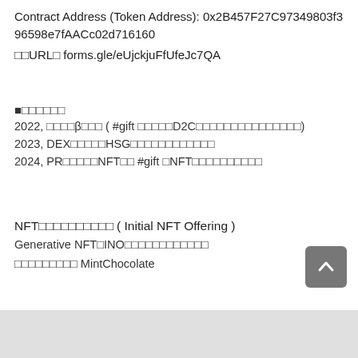Contract Address (Token Address): 0x2B457F27C97349803f396598e7fAACc02d716160
□□URL□ forms.gle/eUjckjuFfUfeJc7QA
■□□□□□□
2022, □□□□β□□□ ( #gift □□□□□D2C□□□□□□□□□□□□□□□)
2023, DEX□□□□□HSG□□□□□□□□□□□□
2024, PR□□□□□NFT□□ #gift □NFT□□□□□□□□□□
NFT□□□□□□□□□□ ( Initial NFT Offering )
Generative NFT□INO□□□□□□□□□□□□
□□□□□□□□□ MintChocolate